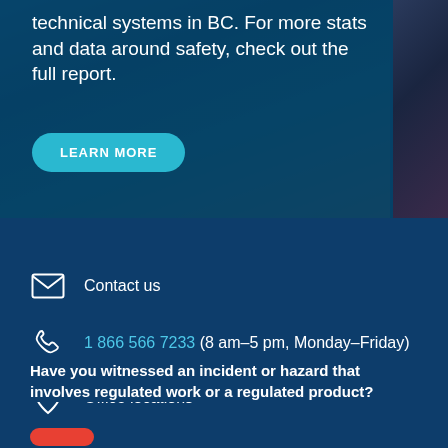technical systems in BC. For more stats and data around safety, check out the full report.
LEARN MORE
Contact us
1 866 566 7233 (8 am–5 pm, Monday–Friday)
Office locations
Have you witnessed an incident or hazard that involves regulated work or a regulated product?